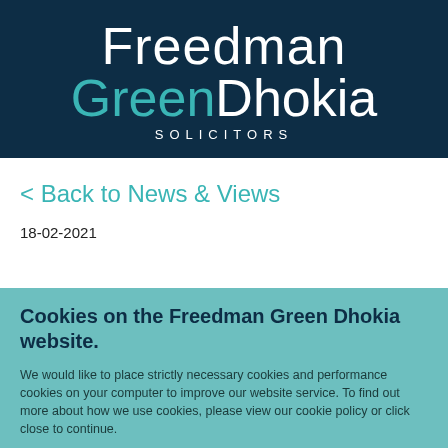[Figure (logo): Freedman Green Dhokia Solicitors logo on dark navy background. 'Freedman' in white, 'Green' in teal, 'Dhokia' in white, 'SOLICITORS' in white letter-spaced text below.]
< Back to News & Views
18-02-2021
Cookies on the Freedman Green Dhokia website.
We would like to place strictly necessary cookies and performance cookies on your computer to improve our website service. To find out more about how we use cookies, please view our cookie policy or click close to continue.
Cookie policy
Close